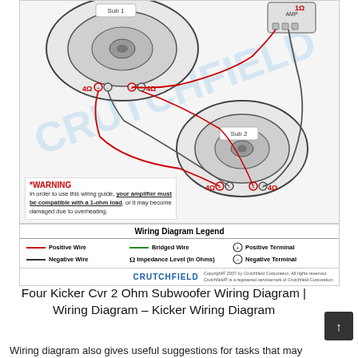[Figure (schematic): Crutchfield wiring diagram showing two subwoofers (Sub 1 and Sub 2) each with dual 4-ohm voice coils wired to an amplifier producing 1 ohm total impedance. Red wires indicate positive connections, dark wires indicate negative connections. Impedance labels: 4Ω on each voice coil terminal, 1Ω at amplifier output.]
*WARNING
In order to use this wiring guide, your amplifier must be compatible with a 1-ohm load, or it may become damaged due to overheating.
| Wiring Diagram Legend |
| --- |
| Positive Wire (red line) | Bridged Wire (green line) | Positive Terminal (+) |
| Negative Wire (dark line) | Impedance Level (In Ohms) Ω | Negative Terminal (-) |
Four Kicker Cvr 2 Ohm Subwoofer Wiring Diagram | Wiring Diagram – Kicker Wiring Diagram
Wiring diagram also gives useful suggestions for tasks that may